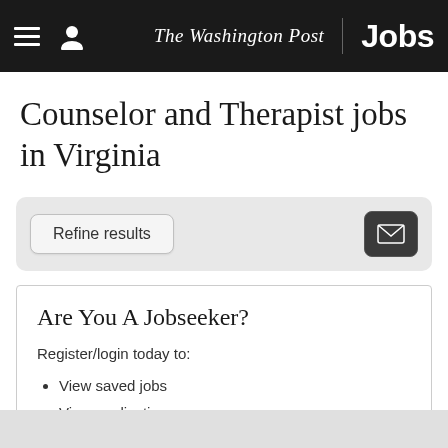The Washington Post Jobs
Counselor and Therapist jobs in Virginia
Refine results
Are You A Jobseeker?
Register/login today to:
View saved jobs
View applications